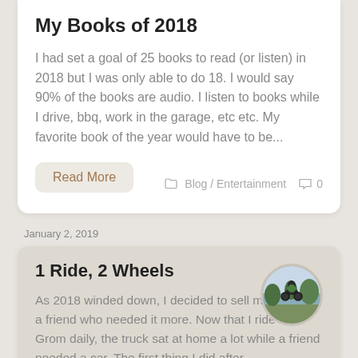My Books of 2018
I had set a goal of 25 books to read (or listen) in 2018 but I was only able to do 18. I would say 90% of the books are audio. I listen to books while I drive, bbq, work in the garage, etc etc. My favorite book of the year would have to be...
Read More
Blog / Entertainment  0
January 2, 2019
1 Ride, 2 Wheels
[Figure (photo): Circular thumbnail photo of a person on a motorcycle, outdoors near water with trees in background]
As 2018 winded down, I decided to sell my truck to a friend who needed it more. Now that I ride the Grom daily, the truck sat at home a lot while a friend needed a car. The first thing I did after